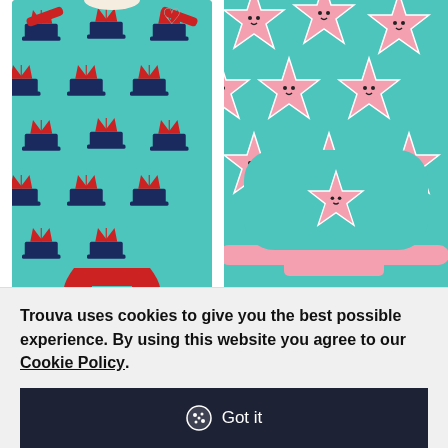[Figure (photo): Viking Ship Short Sleeve Body baby bodysuit on teal/turquoise background with red and navy viking ship pattern]
[Figure (photo): Starfish Helmet hat on teal background with pink starfish pattern, partially cropped on right side]
From Radish Loves
MAXOMORRA
Viking Ship Short Sleeve Body
From Radish L
MAXOMORRA
Starfish Helme
Trouva uses cookies to give you the best possible experience. By using this website you agree to our Cookie Policy.
Got it